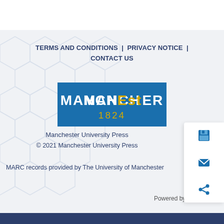TERMS AND CONDITIONS | PRIVACY NOTICE | CONTACT US
[Figure (logo): Manchester University Press logo — blue rectangle with 'MANCHEstER 1824' text, gold '1824']
Manchester University Press
© 2021 Manchester University Press
MARC records provided by The University of Manchester
Powered by PubFactory